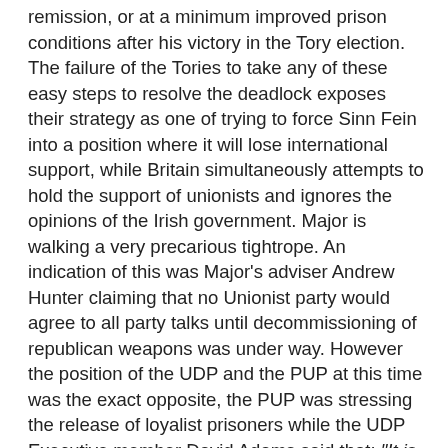remission, or at a minimum improved prison conditions after his victory in the Tory election. The failure of the Tories to take any of these easy steps to resolve the deadlock exposes their strategy as one of trying to force Sinn Fein into a position where it will lose international support, while Britain simultaneously attempts to hold the support of unionists and ignores the opinions of the Irish government. Major is walking a very precarious tightrope. An indication of this was Major's adviser Andrew Hunter claiming that no Unionist party would agree to all party talks until decommissioning of republican weapons was under way. However the position of the UDP and the PUP at this time was the exact opposite, the PUP was stressing the release of loyalist prisoners while the UDP Executive member David Adams said that: "It is unrealistic to say the least, given the nature, history and reasons for our conflict to demand decommissioning to be undertaken by any side in isolation, as a precondition for entry into talks or as part of a quid pro quo for the release of prisoners. Neither can decommissioning be expected to take place in a situation, such as exists at present, where. there is an absence of trust in the bona fides of each other, in the process itself and in